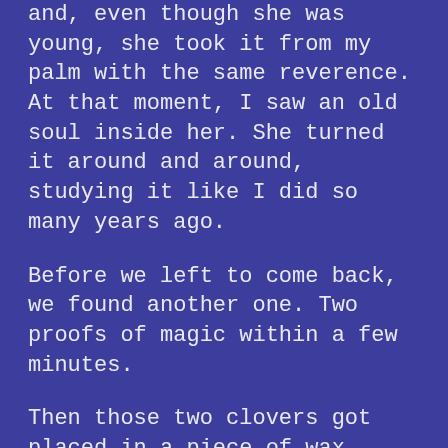and, even though she was young, she took it from my palm with the same reverence. At that moment, I saw an old soul inside her. She turned it around and around, studying it like I did so many years ago.
Before we left to come back, we found another one. Two proofs of magic within a few minutes.
Then those two clovers got placed in a piece of wax paper and placed in a book on my shelf so that I could take care of them later. Which...due to life and the obstacles it tends to put up in your way from time to time, I forgot about them.
Forgotten magic. Forgotten in a book, forgotten in a box.